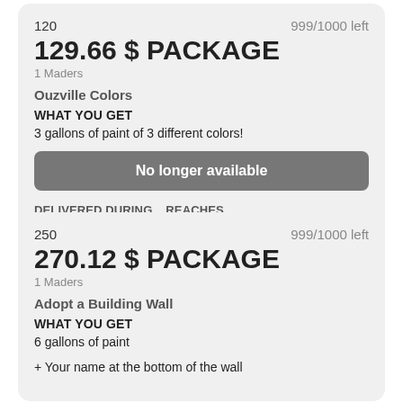120   999/1000 left
129.66 $ PACKAGE
1 Maders
Ouzville Colors
WHAT YOU GET
3 gallons of paint of 3 different colors!
No longer available
DELIVERED DURING   REACHES
OCTOBER 2017
250   999/1000 left
270.12 $ PACKAGE
1 Maders
Adopt a Building Wall
WHAT YOU GET
6 gallons of paint
+ Your name at the bottom of the wall